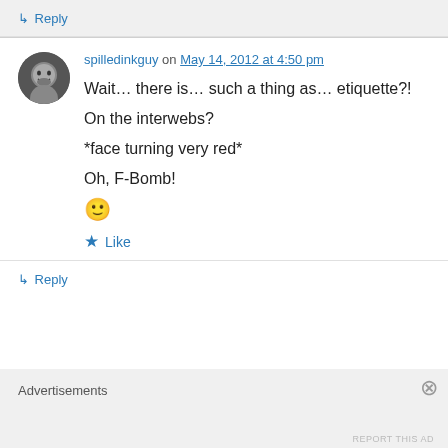↳ Reply
spilledinkguy on May 14, 2012 at 4:50 pm
Wait… there is… such a thing as… etiquette?!
On the interwebs?
*face turning very red*
Oh, F-Bomb!
🙂
★ Like
↳ Reply
Advertisements